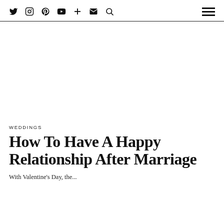Navigation bar with social icons: Twitter, Instagram, Pinterest, YouTube, Plus, Email, Search, and hamburger menu
[Figure (other): Blank white advertisement or image area]
WEDDINGS
How To Have A Happy Relationship After Marriage
With Valentine's Day, the...